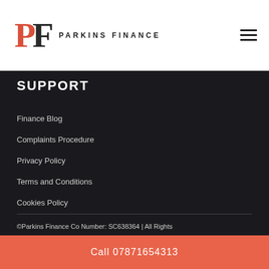PARKINS FINANCE
SUPPORT
Finance Blog
Complaints Procedure
Privacy Policy
Terms and Conditions
Cookies Policy
©Parkins Finance Co Number: SC638364 | All Rights Reserved | Cookie Policy | Privacy Policy | Sitemap
Call 07871654313